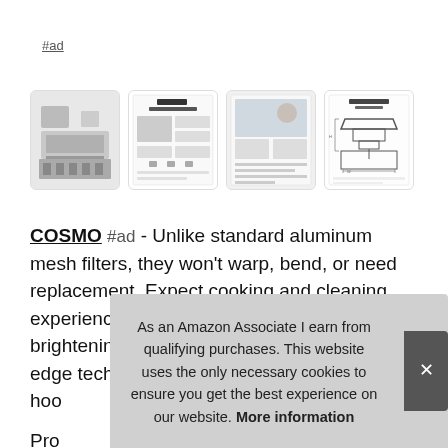#ad
[Figure (photo): Four product images of a kitchen range hood (COSMO brand): photo of installed hood over stove, feature sheet, lifestyle image, and technical diagram.]
COSMO #ad - Unlike standard aluminum mesh filters, they won't warp, bend, or need replacement. Expect cooking and cleaning experiences that make life easier while brightening up your kitchen. Built with cutting edge technology and with the utm... hoo...
Pro... safe...
As an Amazon Associate I earn from qualifying purchases. This website uses the only necessary cookies to ensure you get the best experience on our website. More information